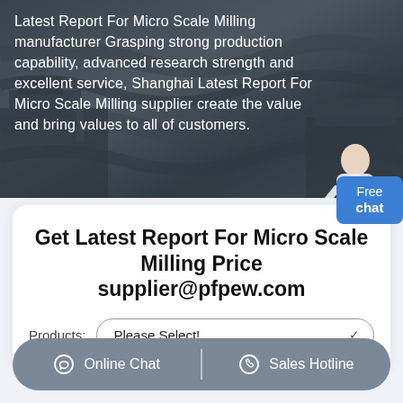[Figure (photo): Aerial view of a mining/quarry site with heavy machinery and rock terrain, used as hero background image.]
Latest Report For Micro Scale Milling manufacturer Grasping strong production capability, advanced research strength and excellent service, Shanghai Latest Report For Micro Scale Milling supplier create the value and bring values to all of customers.
Get Latest Report For Micro Scale Milling Price supplier@pfpew.com
Products: Please Select!
Online Chat  Sales Hotline